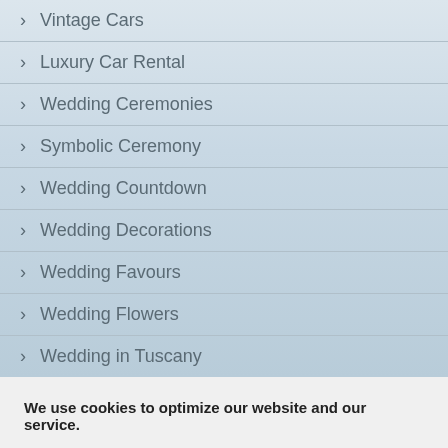Vintage Cars
Luxury Car Rental
Wedding Ceremonies
Symbolic Ceremony
Wedding Countdown
Wedding Decorations
Wedding Favours
Wedding Flowers
Wedding in Tuscany
We use cookies to optimize our website and our service.
Accept
Cookie Policy   Privacy Statement   Imprint